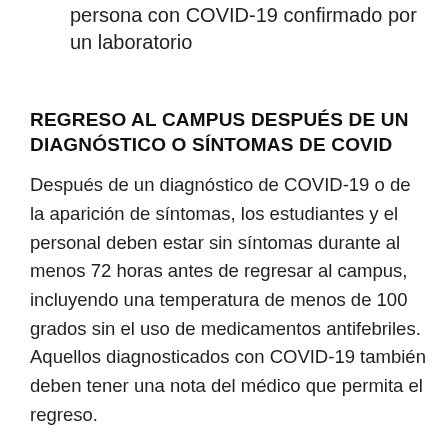persona con COVID-19 confirmado por un laboratorio
REGRESO AL CAMPUS DESPUÉS DE UN DIAGNÓSTICO O SÍNTOMAS DE COVID
Después de un diagnóstico de COVID-19 o de la aparición de síntomas, los estudiantes y el personal deben estar sin síntomas durante al menos 72 horas antes de regresar al campus, incluyendo una temperatura de menos de 100 grados sin el uso de medicamentos antifebriles. Aquellos diagnosticados con COVID-19 también deben tener una nota del médico que permita el regreso.